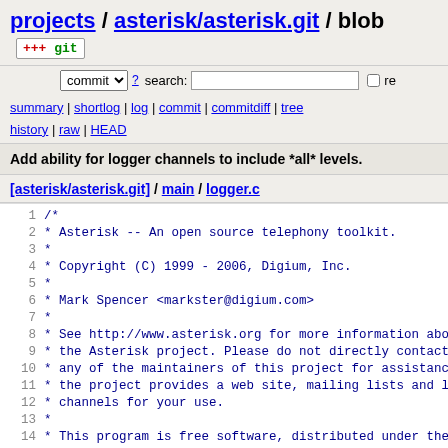projects / asterisk/asterisk.git / blob [git icon]
commit search: [ ] re
summary | shortlog | log | commit | commitdiff | tree history | raw | HEAD
Add ability for logger channels to include *all* levels.
[asterisk/asterisk.git] / main / logger.c
1  /*
2   * Asterisk -- An open source telephony toolkit.
3   *
4   * Copyright (C) 1999 - 2006, Digium, Inc.
5   *
6   * Mark Spencer <markster@digium.com>
7   *
8   * See http://www.asterisk.org for more information abo
9   * the Asterisk project. Please do not directly contact
10  * any of the maintainers of this project for assistanc
11  * the project provides a web site, mailing lists and l
12  * channels for your use.
13  *
14  * This program is free software, distributed under the
15  * the GNU General Public License Version 2. See the LI
16  * at the top of the source tree.
17  */
18
19  /*! \file